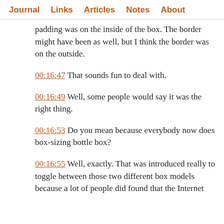Journal  Links  Articles  Notes  About
padding was on the inside of the box. The border might have been as well, but I think the border was on the outside.
00:16:47 That sounds fun to deal with.
00:16:49 Well, some people would say it was the right thing.
00:16:53 Do you mean because everybody now does box-sizing bottle box?
00:16:55 Well, exactly. That was introduced really to toggle between those two different box models because a lot of people did found that the Internet